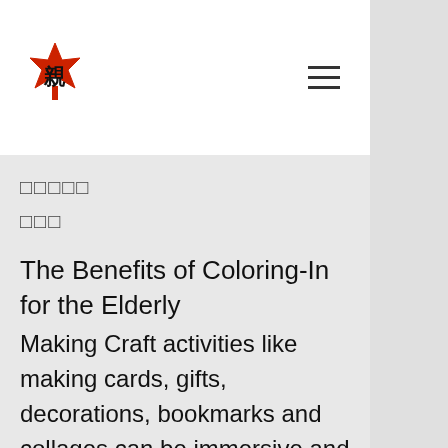[Figure (logo): Red maple leaf logo with Japanese/Chinese calligraphy character overlay]
□□□□□
□□□
The Benefits of Coloring-In for the Elderly
Making Craft activities like making cards, gifts, decorations, bookmarks and collages can be immersive and gratifying. You can find an extensive and varied list